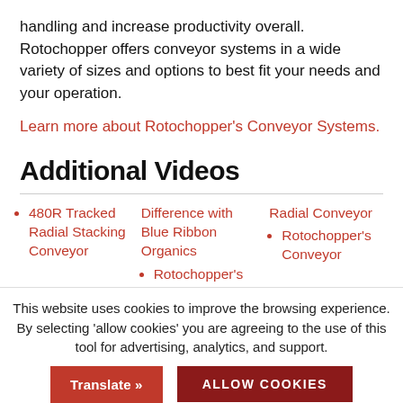handling and increase productivity overall. Rotochopper offers conveyor systems in a wide variety of sizes and options to best fit your needs and your operation.
Learn more about Rotochopper’s Conveyor Systems.
Additional Videos
480R Tracked Radial Stacking Conveyor
Difference with Blue Ribbon Organics
Radial Conveyor
Rotochopper’s
Rotochopper’s Conveyor
This website uses cookies to improve the browsing experience. By selecting ‘allow cookies’ you are agreeing to the use of this tool for advertising, analytics, and support.
Translate »
ALLOW COOKIES